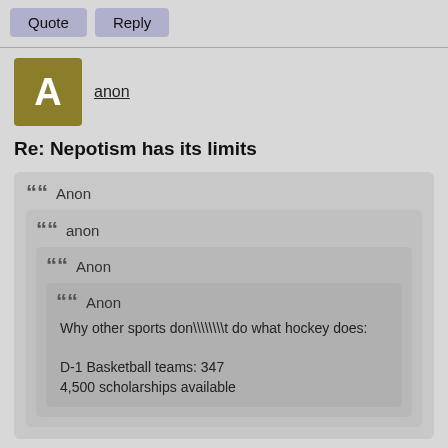Quote | Reply
[Figure (other): User avatar with letter A on olive/gold background]
anon
Re: Nepotism has its limits
Anon (outer quote)
anon (middle quote)
Anon (inner quote level 3)
Anon (innermost quote)
Why other sports don\\\\t do what hockey does:
D-1 Basketball teams: 347
4,500 scholarships available